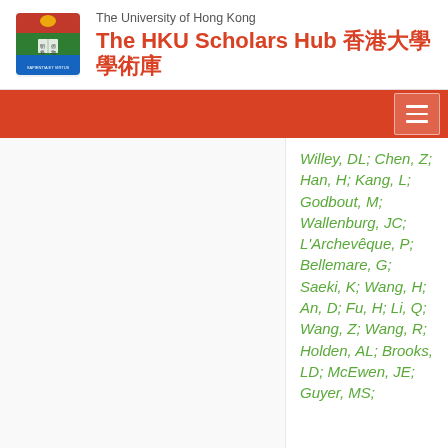The University of Hong Kong — The HKU Scholars Hub 香港大學學術庫
Willey, DL; Chen, Z; Han, H; Kang, L; Godbout, M; Wallenburg, JC; L'Archevêque, P; Bellemare, G; Saeki, K; Wang, H; An, D; Fu, H; Li, Q; Wang, Z; Wang, R; Holden, AL; Brooks, LD; McEwen, JE; Guyer, MS;